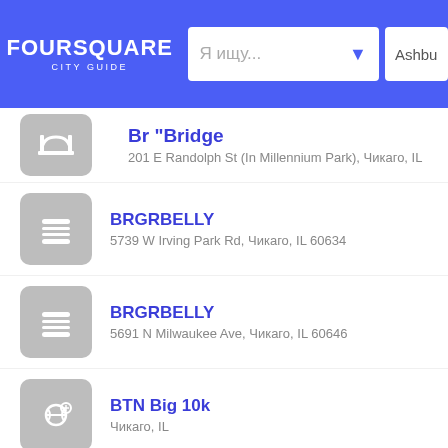FOURSQUARE CITY GUIDE — Я ищу... — Ashbu
Br Bridge — 201 E Randolph St (In Millennium Park), Чикаго, IL
BRGRBELLY — 5739 W Irving Park Rd, Чикаго, IL 60634
BRGRBELLY — 5691 N Milwaukee Ave, Чикаго, IL 60646
BTN Big 10k — Чикаго, IL
BUILT: FESTIVAL presented by — 1767 N Milwaukee Ave (Leavitt), Чикаго, IL 60647
Ba Le — 164 W. Washington (LaSalle), Чикаго, IL 60602